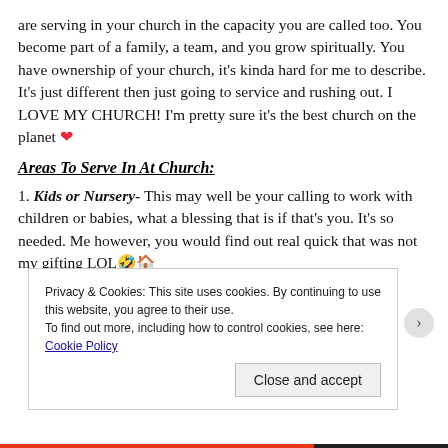are serving in your church in the capacity you are called too. You become part of a family, a team, and you grow spiritually. You have ownership of your church, it's kinda hard for me to describe. It's just different then just going to service and rushing out. I LOVE MY CHURCH! I'm pretty sure it's the best church on the planet ❤
Areas To Serve In At Church:
1. Kids or Nursery- This may well be your calling to work with children or babies, what a blessing that is if that's you. It's so needed. Me however, you would find out real quick that was not my gifting LOL🤣🏠
Privacy & Cookies: This site uses cookies. By continuing to use this website, you agree to their use.
To find out more, including how to control cookies, see here: Cookie Policy
Close and accept